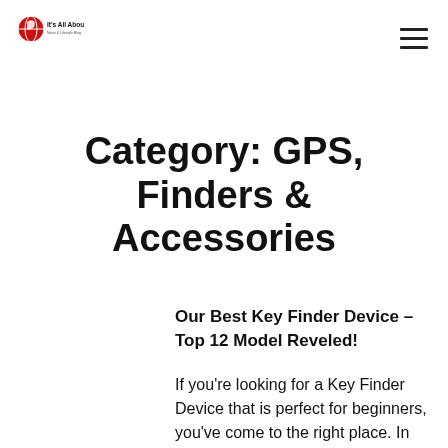It's All About World
Category: GPS, Finders & Accessories
Our Best Key Finder Device – Top 12 Model Reveled!
If you're looking for a Key Finder Device that is perfect for beginners, you've come to the right place. In this blog post, we